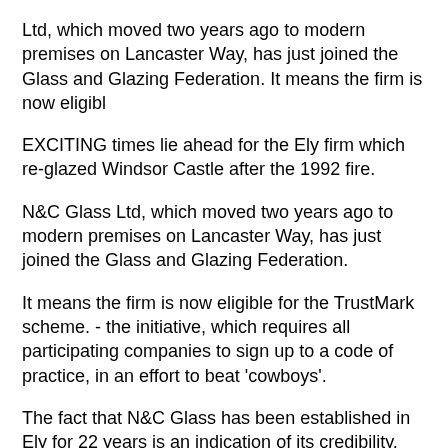Ltd, which moved two years ago to modern premises on Lancaster Way, has just joined the Glass and Glazing Federation. It means the firm is now eligibl
EXCITING times lie ahead for the Ely firm which re-glazed Windsor Castle after the 1992 fire.
N&C Glass Ltd, which moved two years ago to modern premises on Lancaster Way, has just joined the Glass and Glazing Federation.
It means the firm is now eligible for the TrustMark scheme. - the initiative, which requires all participating companies to sign up to a code of practice, in an effort to beat 'cowboys'.
The fact that N&C Glass has been established in Ely for 22 years is an indication of its credibility, with 18 staff able to assist on a wide range of glazing issues